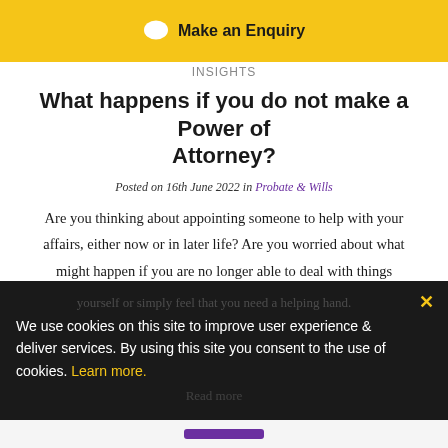Make an Enquiry
What happens if you do not make a Power of Attorney?
Posted on 16th June 2022 in Probate & Wills
Are you thinking about appointing someone to help with your affairs, either now or in later life? Are you worried about what might happen if you are no longer able to deal with things yourself? It may be a relief to know that there are options available, if you do lose the capacity to manage your affairs yourself or simply feel that you need a helping hand. Read more
We use cookies on this site to improve user experience & deliver services. By using this site you consent to the use of cookies. Learn more.